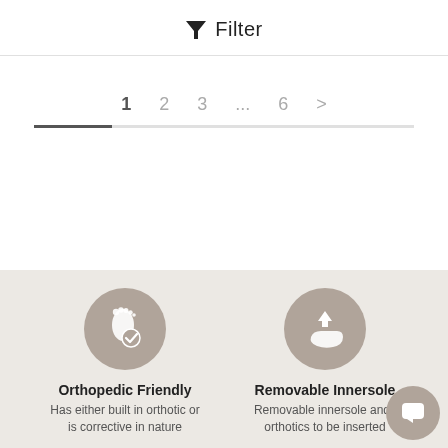Filter
1  2  3  ...  6  >
[Figure (illustration): Foot with checkmark icon in a tan/beige circle, representing orthopedic friendly feature]
Orthopedic Friendly
Has either built in orthotic or is corrective in nature
[Figure (illustration): Removable innersole icon in a tan/beige circle, showing a shoe insert with an upward arrow]
Removable Innersole
Removable innersole and i orthotics to be inserted